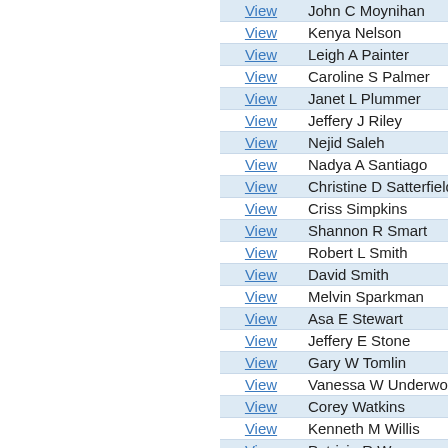|  | Name |
| --- | --- |
| View | John C Moynihan |
| View | Kenya Nelson |
| View | Leigh A Painter |
| View | Caroline S Palmer |
| View | Janet L Plummer |
| View | Jeffery J Riley |
| View | Nejid Saleh |
| View | Nadya A Santiago |
| View | Christine D Satterfield |
| View | Criss Simpkins |
| View | Shannon R Smart |
| View | Robert L Smith |
| View | David Smith |
| View | Melvin Sparkman |
| View | Asa E Stewart |
| View | Jeffery E Stone |
| View | Gary W Tomlin |
| View | Vanessa W Underwood |
| View | Corey Watkins |
| View | Kenneth M Willis |
| View | Patricia R Worner |
| View | Lashara R Austin |
| View | Damaris E Barahona |
| View | Michael P Barton |